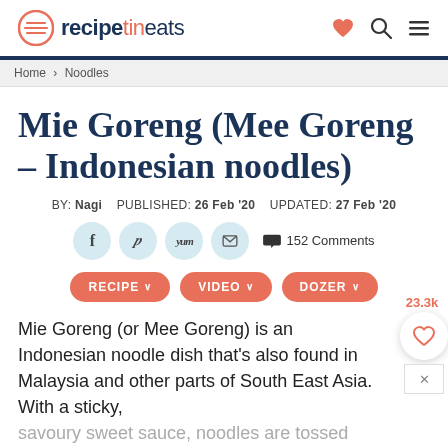recipetineats
Home > Noodles
Mie Goreng (Mee Goreng – Indonesian noodles)
BY: Nagi   PUBLISHED: 26 Feb '20   UPDATED: 27 Feb '20
152 Comments
RECIPE ∨   VIDEO ∨   DOZER ∨
Mie Goreng (or Mee Goreng) is an Indonesian noodle dish that's also found in Malaysia and other parts of South East Asia. With a sticky, savoury sweet sauce, noodles are tossed with chicken, prawns, vegetables and signature egg
23.3k